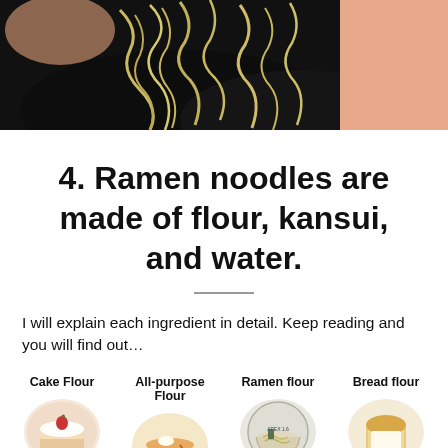[Figure (photo): Photo of ramen noodles being placed on a person's dark hair, top portion of the image cropped]
4. Ramen noodles are made of flour, kansui, and water.
I will explain each ingredient in detail. Keep reading and you will find out…
[Figure (illustration): Four circular food images labeled: Cake Flour (slice of cake), All-purpose Flour (pancakes), Ramen flour (bowl of ramen), Bread flour (sliced bread)]